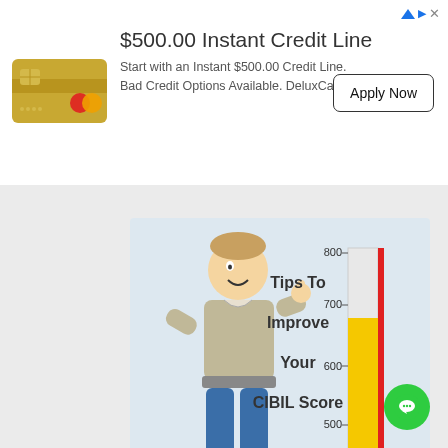[Figure (illustration): Advertisement banner: gold credit card icon on left, text '$500.00 Instant Credit Line' with subtitle 'Start with an Instant $500.00 Credit Line. Bad Credit Options Available. DeluxCards', and an 'Apply Now' button on the right. AdChoices icon top right.]
[Figure (illustration): Cartoon illustration of a man giving thumbs up next to a vertical credit score gauge/thermometer showing values from 300 to 800, with yellow bar and red line. Text reads 'Tips To Improve Your CIBIL Score'.]
Tips to Improve CIBIL Score !
Is your CIBIL report and Score messed up ? Then the biggest question you must be having is “How to I